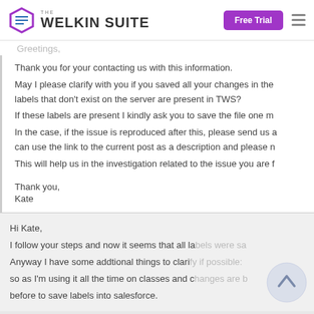THE WELKIN SUITE | Free Trial
Greetings,

Thank you for your contacting us with this information.
May I please clarify with you if you saved all your changes in the labels that don't exist on the server are present in TWS?
If these labels are present I kindly ask you to save the file one m
In the case, if the issue is reproduced after this, please send us a can use the link to the current post as a description and please n
This will help us in the investigation related to the issue you are f

Thank you,
Kate
Hi Kate,

I follow your steps and now it seems that all labels were sa
Anyway I have some addtional things to clarify if possible:
so as I'm using it all the time on classes and changes are b
before to save labels into salesforce.